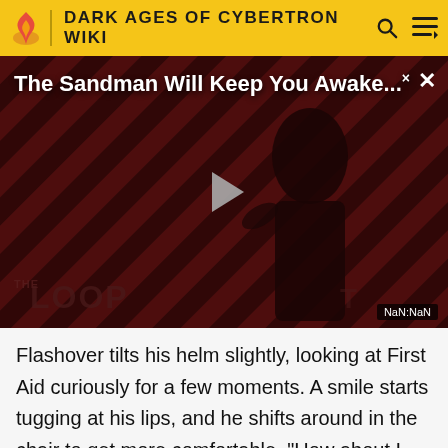DARK AGES OF CYBERTRON WIKI
[Figure (screenshot): Video player showing 'The Sandman Will Keep You Awake...' with a dark figure on a striped red/dark background, a play button in the center, THE LOOP logo at the bottom left, a close button top right, and NaN:NaN timestamp bottom right.]
Flashover tilts his helm slightly, looking at First Aid curiously for a few moments. A smile starts tugging at his lips, and he shifts around in the chair to get more comfortable. "How about I wait here with you?" He suggests, managing to keep the amusement out of his